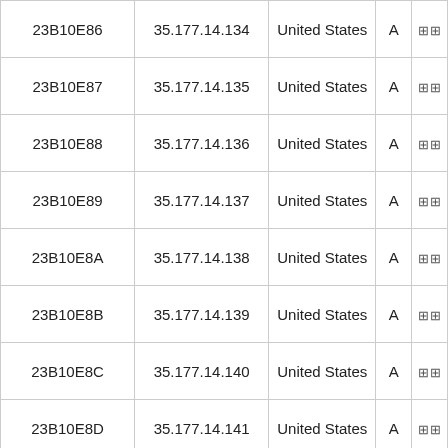| 23B10E86 | 35.177.14.134 | United States | A |  |
| 23B10E87 | 35.177.14.135 | United States | A |  |
| 23B10E88 | 35.177.14.136 | United States | A |  |
| 23B10E89 | 35.177.14.137 | United States | A |  |
| 23B10E8A | 35.177.14.138 | United States | A |  |
| 23B10E8B | 35.177.14.139 | United States | A |  |
| 23B10E8C | 35.177.14.140 | United States | A |  |
| 23B10E8D | 35.177.14.141 | United States | A |  |
| 23B10E8E | 35.177.14.142 | United States | A |  |
| 23B10E8F | 35.177.14.143 | United States | A |  |
| 23B10E90 | 35.177.14.144 | United States | A |  |